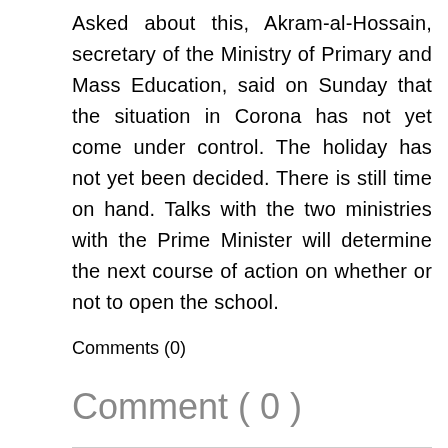Asked about this, Akram-al-Hossain, secretary of the Ministry of Primary and Mass Education, said on Sunday that the situation in Corona has not yet come under control. The holiday has not yet been decided. There is still time on hand. Talks with the two ministries with the Prime Minister will determine the next course of action on whether or not to open the school.
Comments (0)
Comment ( 0 )